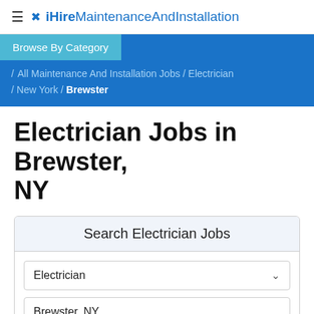≡ ✕ iHireMaintenanceAndInstallation
Browse By Category
/ All Maintenance And Installation Jobs / Electrician / New York / Brewster
Electrician Jobs in Brewster, NY
Search Electrician Jobs
Electrician
Brewster, NY
Search